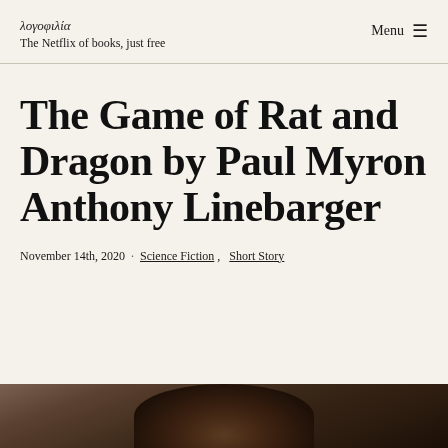λογοφιλία
The Netflix of books, just free
The Game of Rat and Dragon by Paul Myron Anthony Linebarger
November 14th, 2020  ·  Science Fiction,  Short Story
[Figure (photo): Partial view of a person's dark hair against a dark background, visible at the bottom of the page]